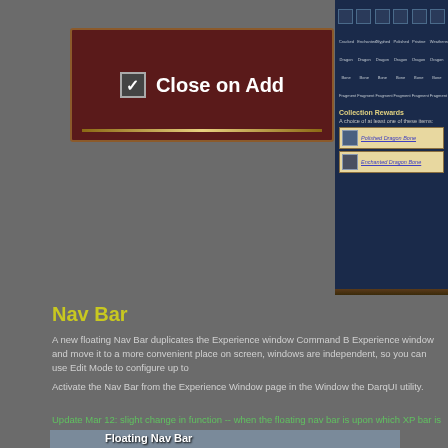[Figure (screenshot): Game UI screenshot showing a 'Close on Add' checkbox option in a dark red panel, and a collection rewards panel showing Dragon Bone Fragment items with rewards listed]
Nav Bar
A new floating Nav Bar duplicates the Experience window Command B Experience window and move it to a more convenient place on screen, windows are independent, so you can use Edit Mode to configure up to
Activate the Nav Bar from the Experience Window page in the Window the DarqUI utility.
Update Mar 12: slight change in function -- when the floating nav bar is upon which XP bar is showing. When both nav bars are present, only th
[Figure (screenshot): Game screenshot showing 'Floating Nav Bar' label overlaid on a fantasy game environment]